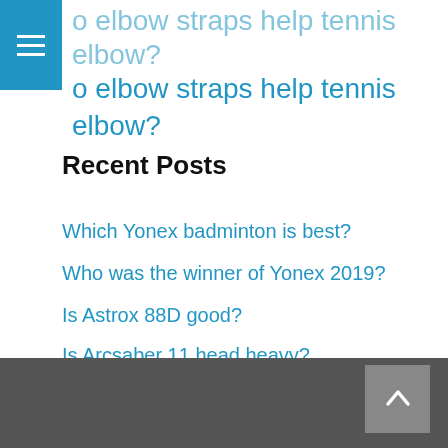o elbow straps help tennis elbow?
Recent Posts
Which Yonex badminton is best?
Who was the winner of Yonex 2019?
Is Astrox 88D good?
Is Arcsaber 11 head heavy?
What is the use of wristband in badminton?